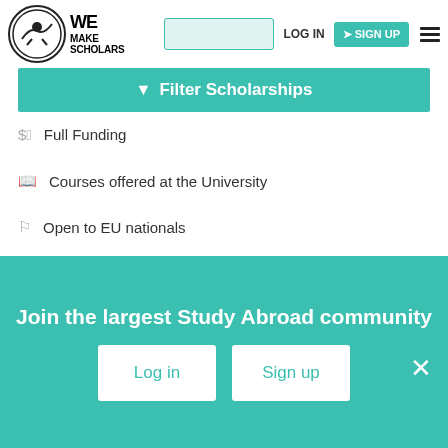We Make Scholars | LOG IN | SIGN UP
Filter Scholarships
Full Funding
Courses offered at the University
Open to EU nationals
Any EU university
Shortlist | View & Apply
Update your status of this scholarship
Join the largest Study Abroad community
Log in | Sign up